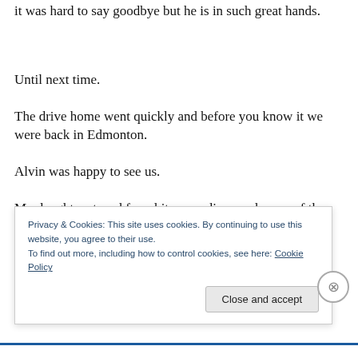it was hard to say goodbye but he is in such great hands.
Until next time.
The drive home went quickly and before you know it we were back in Edmonton.
Alvin was happy to see us.
My daughter stayed for a bit as we discussed some of the
Privacy & Cookies: This site uses cookies. By continuing to use this website, you agree to their use.
To find out more, including how to control cookies, see here: Cookie Policy
Close and accept